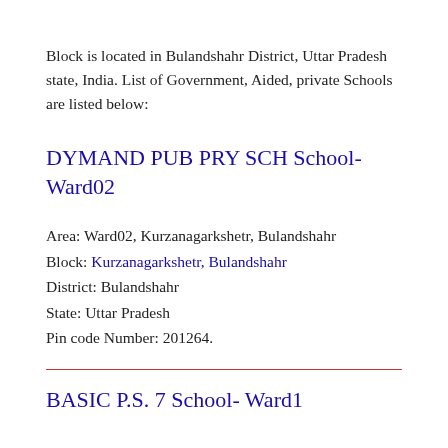Block is located in Bulandshahr District, Uttar Pradesh state, India. List of Government, Aided, private Schools are listed below:
DYMAND PUB PRY SCH School- Ward02
Area: Ward02, Kurzanagarkshetr, Bulandshahr
Block: Kurzanagarkshetr, Bulandshahr
District: Bulandshahr
State: Uttar Pradesh
Pin code Number: 201264.
BASIC P.S. 7 School- Ward1